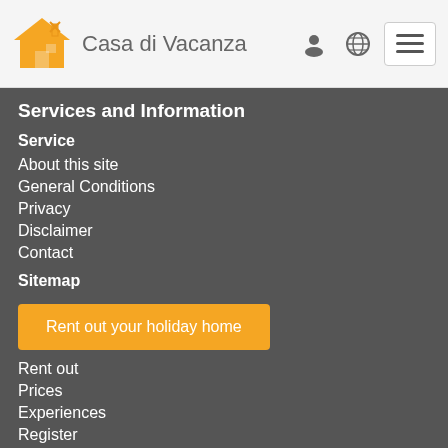Casa di Vacanza
Services and Information
Service
About this site
General Conditions
Privacy
Disclaimer
Contact
Sitemap
Rent out your holiday home
Rent out
Prices
Experiences
Register
Most booked